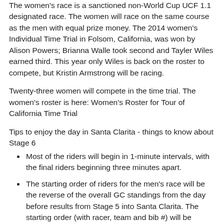The women's race is a sanctioned non-World Cup UCF 1.1 designated race. The women will race on the same course as the men with equal prize money. The 2014 women's Individual Time Trial in Folsom, California, was won by Alison Powers; Brianna Walle took second and Tayler Wiles earned third. This year only Wiles is back on the roster to compete, but Kristin Armstrong will be racing.
Twenty-three women will compete in the time trial. The women's roster is here: Women's Roster for Tour of California Time Trial
Tips to enjoy the day in Santa Clarita - things to know about Stage 6
Most of the riders will begin in 1-minute intervals, with the final riders beginning three minutes apart.
The starting order of riders for the men's race will be the reverse of the overall GC standings from the day before results from Stage 5 into Santa Clarita. The starting order (with racer, team and bib #) will be published the evening of May 14th.